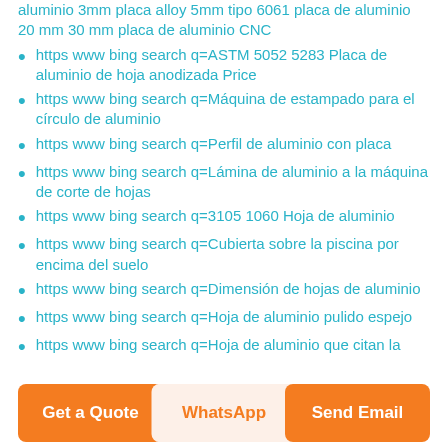aluminio 3mm placa alloy 5mm tipo 6061 placa de aluminio 20 mm 30 mm placa de aluminio CNC
https www bing search q=ASTM 5052 5283 Placa de aluminio de hoja anodizada Price
https www bing search q=Máquina de estampado para el círculo de aluminio
https www bing search q=Perfil de aluminio con placa
https www bing search q=Lámina de aluminio a la máquina de corte de hojas
https www bing search q=3105 1060 Hoja de aluminio
https www bing search q=Cubierta sobre la piscina por encima del suelo
https www bing search q=Dimensión de hojas de aluminio
https www bing search q=Hoja de aluminio pulido espejo
https www bing search q=Hoja de aluminio que citan la
Get a Quote
WhatsApp
Send Email